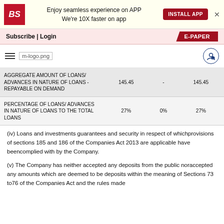[Figure (screenshot): App install banner with BS logo, text 'Enjoy seamless experience on APP We're 10X faster on app', INSTALL APP button, and close X]
Subscribe | Login   E-PAPER
[Figure (logo): Navigation bar with hamburger menu, m-logo.png, and user icon]
|  |  |  |  |
| --- | --- | --- | --- |
| AGGREGATE AMOUNT OF LOANS/ ADVANCES IN NATURE OF LOANS - REPAYABLE ON DEMAND | 145.45 | - | 145.45 |
| PERCENTAGE OF LOANS/ ADVANCES IN NATURE OF LOANS TO THE TOTAL LOANS | 27% | 0% | 27% |
(iv) Loans and investments guarantees and security in respect of whichprovisions of sections 185 and 186 of the Companies Act 2013 are applicable have beencomplied with by the Company.
(v) The Company has neither accepted any deposits from the public noraccepted any amounts which are deemed to be deposits within the meaning of Sections 73 to76 of the Companies Act and the rules made